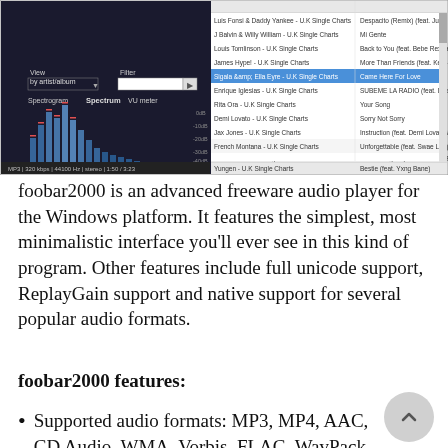[Figure (screenshot): Screenshot of foobar2000 audio player showing a playlist with UK Single Charts tracks. Left panel shows a spectrogram/spectrum visualizer. Right panel lists artists and song titles including Luis Fonsi & Daddy Yankee, J Balvin & Willy William, Louis Tomlinson, James Hype, Sigala &amp; Ella Eyre (highlighted), Enrique Iglesias, Rita Ora, Demi Lovato, Jax Jones, French Montana, DJ Khaled, and Yungen. Bottom status bar shows: MP3 | 320 kbps | 44100 Hz | stereo | 1:50 / 3:23]
foobar2000 is an advanced freeware audio player for the Windows platform. It features the simplest, most minimalistic interface you'll ever see in this kind of program. Other features include full unicode support, ReplayGain support and native support for several popular audio formats.
foobar2000 features:
Supported audio formats: MP3, MP4, AAC, CD Audio, WMA, Vorbis, FLAC, WavPack, WAV, AIFF